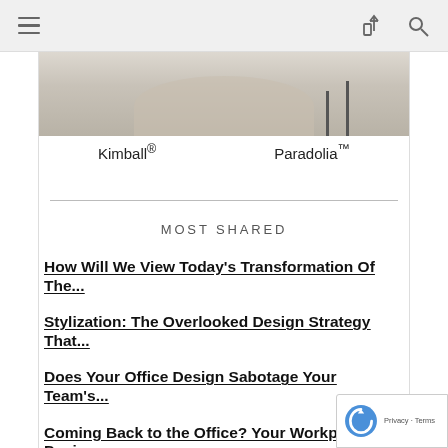[Figure (screenshot): Browser top navigation bar with hamburger menu icon on left and share and search icons on right, gray background]
[Figure (photo): Partial photo of furniture/interior design, showing a beige/tan chair or table on a light rug, cropped at top]
Kimball®  Paradolia™
MOST SHARED
How Will We View Today's Transformation Of The...
Stylization: The Overlooked Design Strategy That...
Does Your Office Design Sabotage Your Team's...
Coming Back to the Office? Your Workplace Design...
What Will You Do With All That Office Furniture...
How Workplace Design Can Help Attract Gen Z